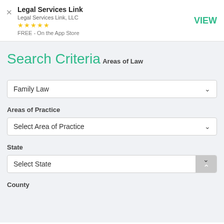Legal Services Link — Legal Services Link, LLC — ★★★★★ — FREE - On the App Store — VIEW
Search Criteria
Areas of Law
Family Law
Areas of Practice
Select Area of Practice
State
Select State
County